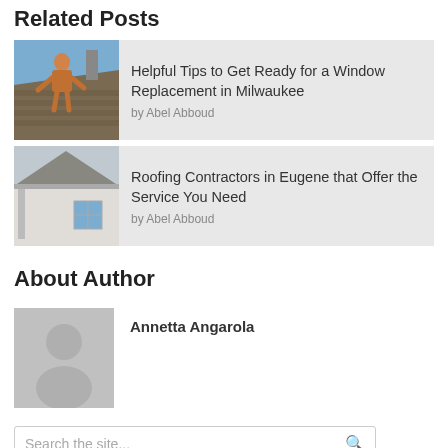Related Posts
[Figure (photo): Person working on a rooftop with tools, blue sky background]
Helpful Tips to Get Ready for a Window Replacement in Milwaukee
by Abel Abboud
[Figure (photo): House exterior with gutters and white siding]
Roofing Contractors in Eugene that Offer the Service You Need
by Abel Abboud
About Author
[Figure (photo): Generic grey person/avatar placeholder silhouette image]
Annetta Angarola
Search the site...